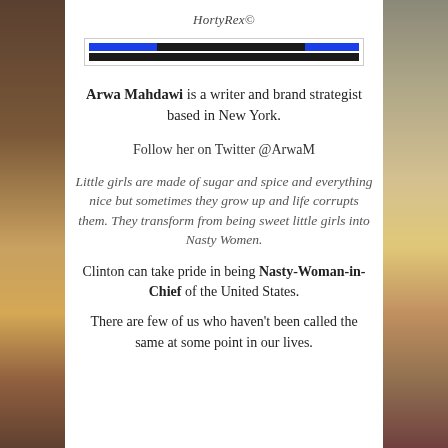HortyRex©
[Figure (other): A banner image with blue and dark horizontal bars]
Arwa Mahdawi is a writer and brand strategist based in New York.
Follow her on Twitter @ArwaM
Little girls are made of sugar and spice and everything nice but sometimes they grow up and life corrupts them. They transform from being sweet little girls into Nasty Women.
Clinton can take pride in being Nasty-Woman-in-Chief of the United States.
There are few of us who haven't been called the same at some point in our lives.